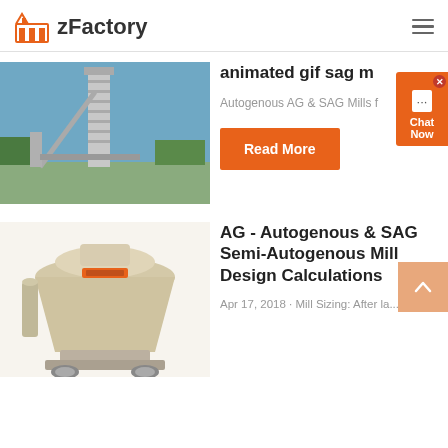zFactory
[Figure (photo): Industrial factory or processing plant with tall tower structure against blue sky]
animated gif sag m
Autogenous AG & SAG Mills f
Read More
[Figure (photo): Yellow/beige industrial cone crusher machine]
AG - Autogenous & SAG Semi-Autogenous Mill Design Calculations
Apr 17, 2018 · Mill Sizing: After la...